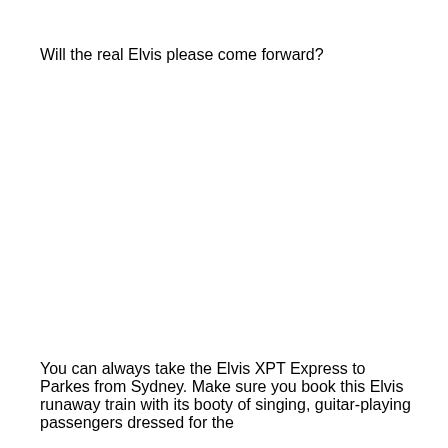Will the real Elvis please come forward?
You can always take the Elvis XPT Express to Parkes from Sydney. Make sure you book this Elvis runaway train with its booty of singing, guitar-playing passengers dressed for the